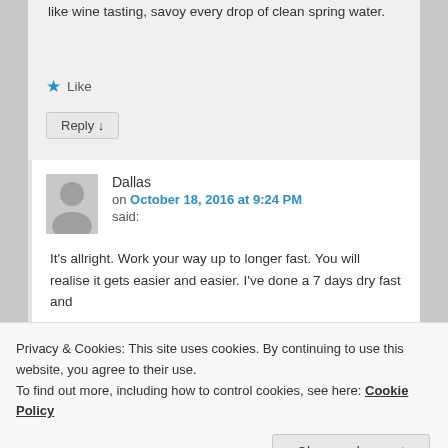like wine tasting, savoy every drop of clean spring water.
★ Like
Reply ↓
Dallas
on October 18, 2016 at 9:24 PM
said:
It's allright. Work your way up to longer fast. You will realise it gets easier and easier. I've done a 7 days dry fast and
Privacy & Cookies: This site uses cookies. By continuing to use this website, you agree to their use.
To find out more, including how to control cookies, see here: Cookie Policy
Close and accept
your cells instead of junk so you become